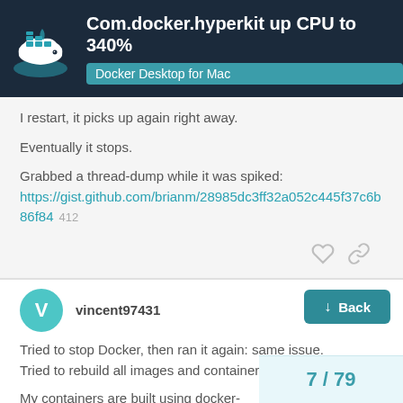Com.docker.hyperkit up CPU to 340% — Docker Desktop for Mac
I restart, it picks up again right away.
Eventually it stops.
Grabbed a thread-dump while it was spiked:
https://gist.github.com/brianm/28985dc3ff32a052c445f37c6b86f84  412
vincent97431  1  May '16
Tried to stop Docker, then ran it again: same issue.
Tried to rebuild all images and containers: same issue.
My containers are built using docker-compose. [Back button] this issue with Docker Toolbox.
Below are more info about my mac.
7 / 79